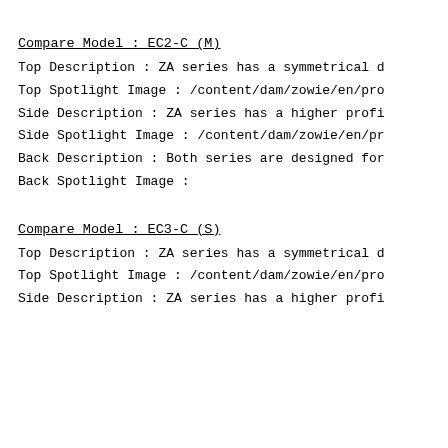Compare Model : EC2-C (M)
Top Description : ZA series has a symmetrical d
Top Spotlight Image : /content/dam/zowie/en/pro
Side Description : ZA series has a higher profi
Side Spotlight Image : /content/dam/zowie/en/pr
Back Description : Both series are designed for
Back Spotlight Image :
Compare Model : EC3-C (S)
Top Description : ZA series has a symmetrical d
Top Spotlight Image : /content/dam/zowie/en/pro
Side Description : ZA series has a higher profi